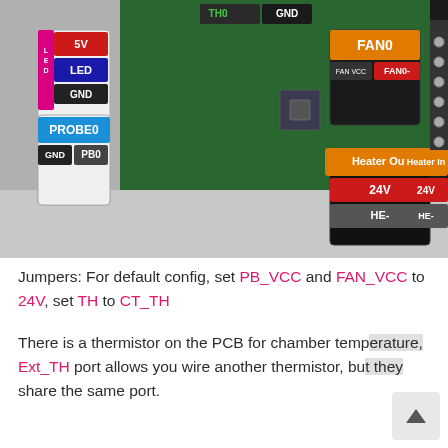[Figure (photo): Photo of a 3D printer control board PCB showing labeled connectors: LED connector with 5V, LED, GND pins; PROBE0 connector with GND and PB0 pins; FAN0 connector with FAN VCC and FAN0- pins; TH0 and GND thermistor header; Heater Out connector with 24V and HE- labels; Heater In connector with 24V and HE- labels.]
Jumpers: For default config, set PB_VCC and FAN_VCC to 24V, set TH to CT_TH
There is a thermistor on the PCB for chamber temperature, Ext_TH port allows you wire another thermistor, but they share the same port.